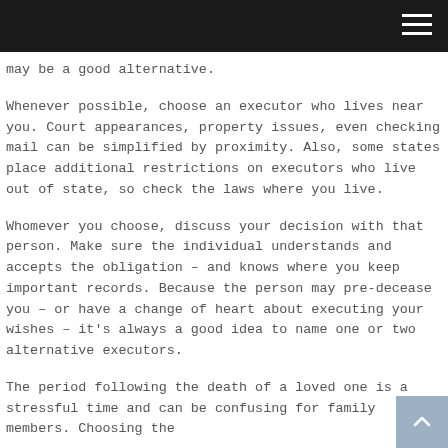[navigation bar with hamburger menu]
may be a good alternative.
Whenever possible, choose an executor who lives near you. Court appearances, property issues, even checking mail can be simplified by proximity. Also, some states place additional restrictions on executors who live out of state, so check the laws where you live.
Whomever you choose, discuss your decision with that person. Make sure the individual understands and accepts the obligation – and knows where you keep important records. Because the person may pre-decease you – or have a change of heart about executing your wishes – it's always a good idea to name one or two alternative executors.
The period following the death of a loved one is a stressful time and can be confusing for family members. Choosing the